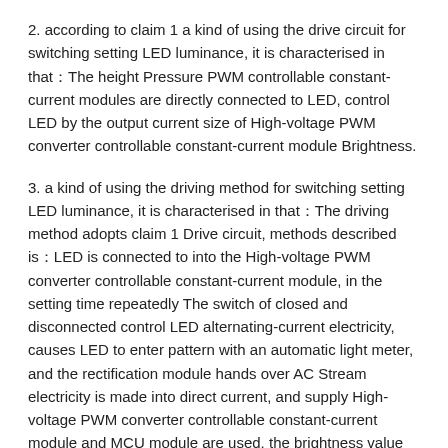2. according to claim 1 a kind of using the drive circuit for switching setting LED luminance, it is characterised in that。The height Pressure PWM controllable constant-current modules are directly connected to LED, control LED by the output current size of High-voltage PWM converter controllable constant-current module Brightness.
3. a kind of using the driving method for switching setting LED luminance, it is characterised in that。The driving method adopts claim 1 Drive circuit, methods described is。LED is connected to into the High-voltage PWM converter controllable constant-current module, in the setting time repeatedly The switch of closed and disconnected control LED alternating-current electricity, causes LED to enter pattern with an automatic light meter, and the rectification module hands over AC Stream electricity is made into direct current, and supply High-voltage PWM converter controllable constant-current module and MCU module are used, the brightness value output of the upper electricity of MCU module control With the setting of user。MCU module PWM pins output be directly connected in High-voltage PWM converter controllable constant-current module, by dutycycle come